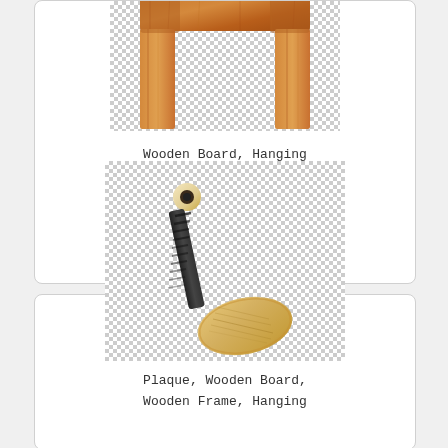[Figure (illustration): Wooden board / hanging wooden sign / wooden frame icon shown partially at top of card, on checkered transparent background]
Wooden Board, Hanging Wooden Sign, Wooden Frame, Wooden Sign icon
[Figure (illustration): A wooden canoe paddle with dark wrapped handle grip, shown on checkered transparent background]
Plaque, Wooden Board, Wooden Frame, Hanging